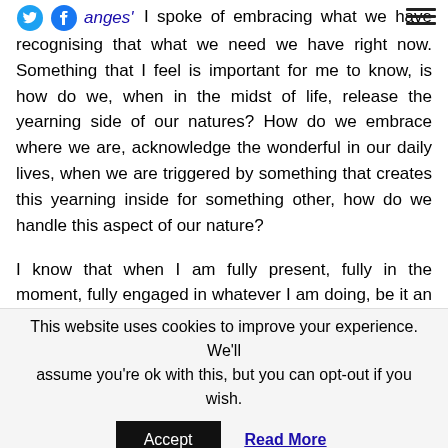anges' I spoke of embracing what we have recognising that what we need we have right now. Something that I feel is important for me to know, is how do we, when in the midst of life, release the yearning side of our natures? How do we embrace where we are, acknowledge the wonderful in our daily lives, when we are triggered by something that creates this yearning inside for something other, how do we handle this aspect of our nature?
I know that when I am fully present, fully in the moment, fully engaged in whatever I am doing, be it an activity, to simply being in nature, I am not aware of any yearning. However, this yearning for more nearly always arises at some point in my
This website uses cookies to improve your experience. We'll assume you're ok with this, but you can opt-out if you wish.